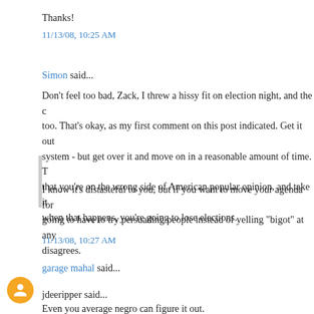Thanks!
11/13/08, 10:25 AM
Simon said...
Don't feel too bad, Zack, I threw a hissy fit on election night, and the c too. That's okay, as my first comment on this post indicated. Get it out system - but get over it and move on in a reasonable amount of time. T that you're on the wrong side of American popular opinion, and take it when that happens, you're going to lose elections.
I know it's distasteful to you, but if you want to move your agenda for going to have to try persuading people instead of yelling "bigot" at any disagrees.
11/13/08, 10:27 AM
garage mahal said...
jdeeripper said...
Even you average negro can figure it out.